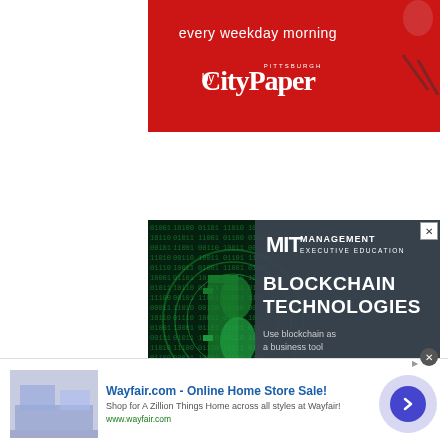[Figure (illustration): Pittsburgh CityPaper advertisement banner on red background with text 'every weekday morning by CityPaper' and a stylized bird mascot holding a newspaper]
[Figure (illustration): MIT Management Executive Education advertisement for Blockchain Technologies showing a glowing Bitcoin symbol on dark green digital background with text 'BLOCKCHAIN TECHNOLOGIES - Use blockchain as a business tool - LEARN MORE' button]
[Figure (illustration): Wayfair.com online home store sale advertisement at the bottom showing a furniture image, headline 'Wayfair.com - Online Home Store Sale!', description 'Shop for A Zillion Things Home across all styles at Wayfair!', URL www.wayfair.com, and a blue arrow button]